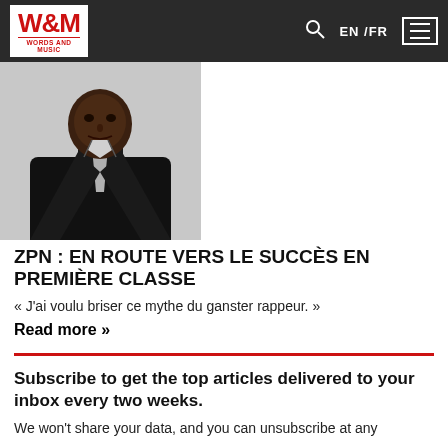W&M WORDS AND MUSIC — EN /FR
[Figure (photo): Man in black suit with silver tie against light background]
ZPN : EN ROUTE VERS LE SUCCÈS EN PREMIÈRE CLASSE
« J'ai voulu briser ce mythe du ganster rappeur. »
Read more »
Subscribe to get the top articles delivered to your inbox every two weeks.
We won't share your data, and you can unsubscribe at any